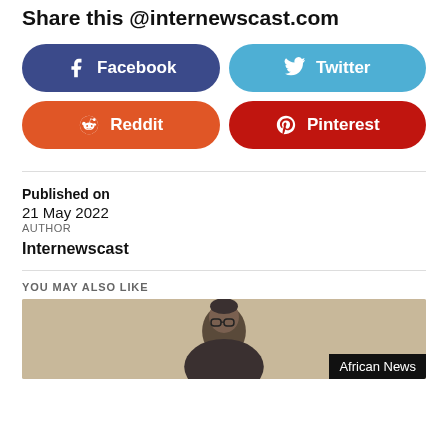Share this @internewscast.com
[Figure (infographic): Social share buttons: Facebook (dark blue), Twitter (light blue), Reddit (orange), Pinterest (dark red)]
Published on
21 May 2022
AUTHOR
Internewscast
YOU MAY ALSO LIKE
[Figure (photo): Photo of a man wearing glasses, African News tag overlay]